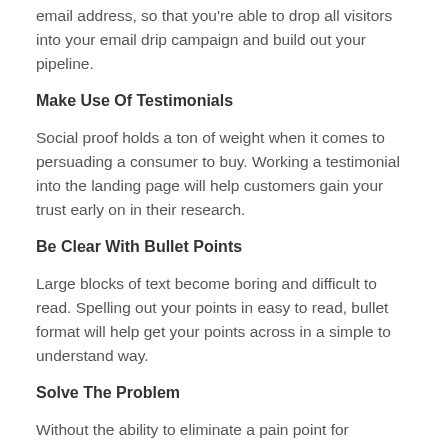email address, so that you're able to drop all visitors into your email drip campaign and build out your pipeline.
Make Use Of Testimonials
Social proof holds a ton of weight when it comes to persuading a consumer to buy. Working a testimonial into the landing page will help customers gain your trust early on in their research.
Be Clear With Bullet Points
Large blocks of text become boring and difficult to read. Spelling out your points in easy to read, bullet format will help get your points across in a simple to understand way.
Solve The Problem
Without the ability to eliminate a pain point for customers, it is difficult to sell to them. Be clear, concise, and honest about what problem you'll solve, and how you'll solve it.